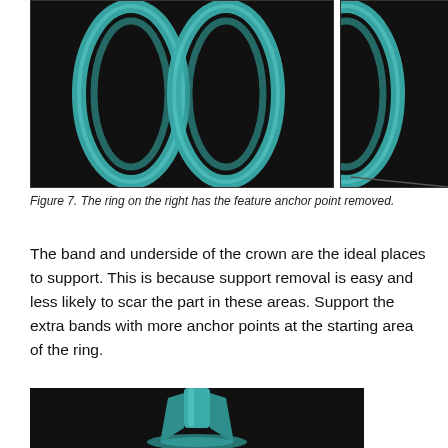[Figure (photo): Two 3D rendered rings on dark background. Left image shows two teal/turquoise rings side by side. Right image shows a partial view of another ring on dark background.]
Figure 7. The ring on the right has the feature anchor point removed.
The band and underside of the crown are the ideal places to support. This is because support removal is easy and less likely to scar the part in these areas. Support the extra bands with more anchor points at the starting area of the ring.
[Figure (photo): 3D rendered teal/turquoise crown or ring component on dark background, viewed from above showing geometric structure.]